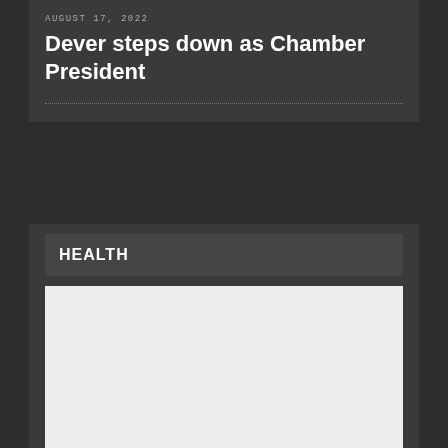AUGUST 17, 2022
Dever steps down as Chamber President
HEALTH
[Figure (photo): Light gray image placeholder for a health article]
AUGUST 21, 2022